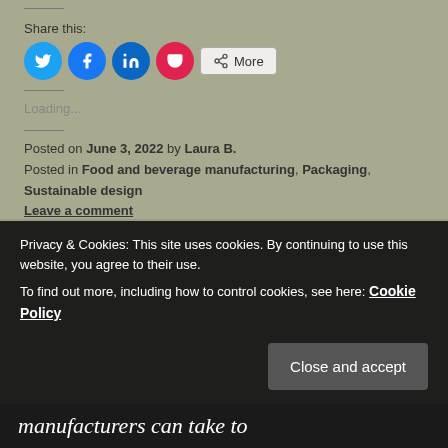Share this:
Loading...
Posted on June 3, 2022 by Laura B.
Posted in Food and beverage manufacturing, Packaging, Sustainable design
Leave a comment
Privacy & Cookies: This site uses cookies. By continuing to use this website, you agree to their use. To find out more, including how to control cookies, see here: Cookie Policy
Close and accept
manufacturers can take to